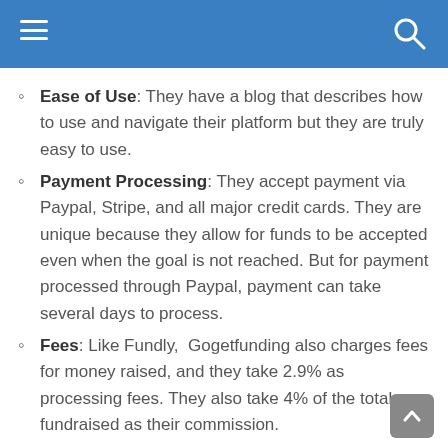Ease of Use: They have a blog that describes how to use and navigate their platform but they are truly easy to use.
Payment Processing: They accept payment via Paypal, Stripe, and all major credit cards. They are unique because they allow for funds to be accepted even when the goal is not reached. But for payment processed through Paypal, payment can take several days to process.
Fees: Like Fundly, Gogetfunding also charges fees for money raised, and they take 2.9% as processing fees. They also take 4% of the total fundraised as their commission.
Advantages: They utilize their social media